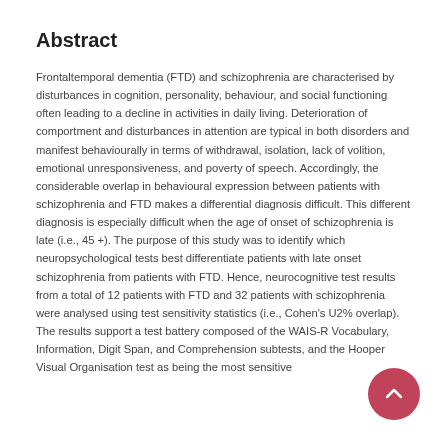Abstract
Frontaltemporal dementia (FTD) and schizophrenia are characterised by disturbances in cognition, personality, behaviour, and social functioning often leading to a decline in activities in daily living. Deterioration of comportment and disturbances in attention are typical in both disorders and manifest behaviourally in terms of withdrawal, isolation, lack of volition, emotional unresponsiveness, and poverty of speech. Accordingly, the considerable overlap in behavioural expression between patients with schizophrenia and FTD makes a differential diagnosis difficult. This different diagnosis is especially difficult when the age of onset of schizophrenia is late (i.e., 45 +). The purpose of this study was to identify which neuropsychological tests best differentiate patients with late onset schizophrenia from patients with FTD. Hence, neurocognitive test results from a total of 12 patients with FTD and 32 patients with schizophrenia were analysed using test sensitivity statistics (i.e., Cohen's U2% overlap). The results support a test battery composed of the WAIS-R Vocabulary, Information, Digit Span, and Comprehension subtests, and the Hooper Visual Organisation test as being the most sensitive